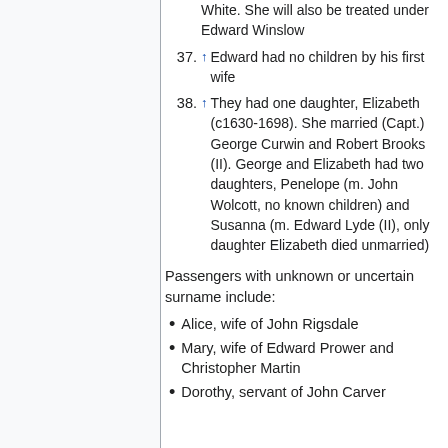37. ↑ Edward had no children by his first wife
38. ↑ They had one daughter, Elizabeth (c1630-1698). She married (Capt.) George Curwin and Robert Brooks (II). George and Elizabeth had two daughters, Penelope (m. John Wolcott, no known children) and Susanna (m. Edward Lyde (II), only daughter Elizabeth died unmarried)
Passengers with unknown or uncertain surname include:
Alice, wife of John Rigsdale
Mary, wife of Edward Prower and Christopher Martin
Dorothy, servant of John Carver